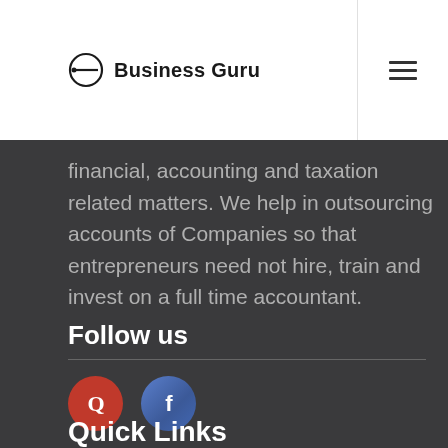Business Guru
financial, accounting and taxation related matters. We help in outsourcing accounts of Companies so that entrepreneurs need not hire, train and invest on a full time accountant.
Follow us
[Figure (logo): Quora icon (red circle with white Q) and Facebook icon (blue circle with white f)]
Quick Links